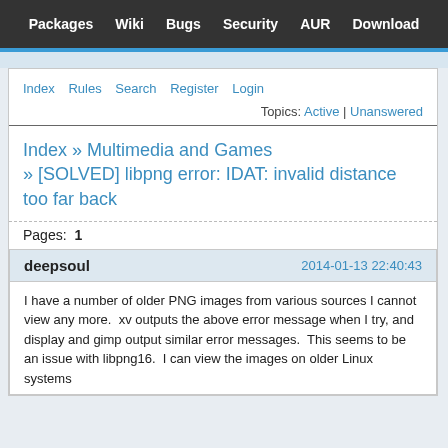Packages  Wiki  Bugs  Security  AUR  Download
Index  Rules  Search  Register  Login
Topics: Active | Unanswered
Index » Multimedia and Games » [SOLVED] libpng error: IDAT: invalid distance too far back
Pages:  1
deepsoul   2014-01-13 22:40:43
I have a number of older PNG images from various sources I cannot view any more.  xv outputs the above error message when I try, and display and gimp output similar error messages.  This seems to be an issue with libpng16.  I can view the images on older Linux systems